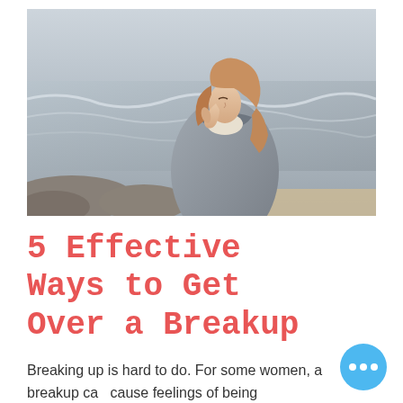[Figure (photo): Young woman with long auburn hair wearing a grey coat standing on a rocky beach, looking downward with one hand raised near her face. Grey ocean waves in the background. Muted, desaturated color palette.]
5 Effective Ways to Get Over a Breakup
Breaking up is hard to do. For some women, a breakup can cause feelings of being